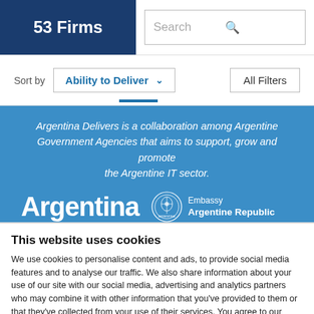53 Firms
Search
Sort by  Ability to Deliver  All Filters
Argentina Delivers is a collaboration among Argentine Government Agencies that aims to support, grow and promote the Argentine IT sector.
Argentina  Embassy Argentine Republic
This website uses cookies
We use cookies to personalise content and ads, to provide social media features and to analyse our traffic. We also share information about your use of our site with our social media, advertising and analytics partners who may combine it with other information that you've provided to them or that they've collected from your use of their services. You agree to our cookies if you continue to use our website.
Close
Show details